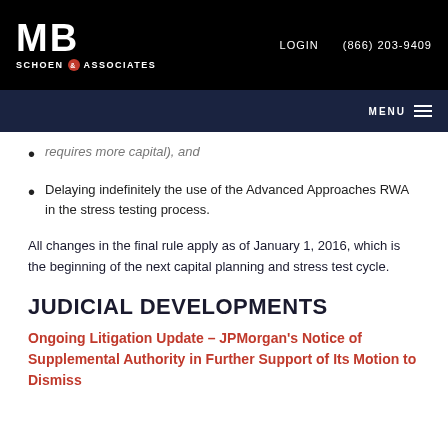MB SCHOEN & ASSOCIATES | LOGIN | (866) 203-9409
requires more capital), and
Delaying indefinitely the use of the Advanced Approaches RWA in the stress testing process.
All changes in the final rule apply as of January 1, 2016, which is the beginning of the next capital planning and stress test cycle.
JUDICIAL DEVELOPMENTS
Ongoing Litigation Update – JPMorgan's Notice of Supplemental Authority in Further Support of Its Motion to Dismiss